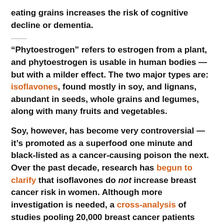eating grains increases the risk of cognitive decline or dementia.
“Phytoestrogen” refers to estrogen from a plant, and phytoestrogen is usable in human bodies — but with a milder effect. The two major types are: isoflavones, found mostly in soy, and lignans, abundant in seeds, whole grains and legumes, along with many fruits and vegetables.
Soy, however, has become very controversial — it’s promoted as a superfood one minute and black-listed as a cancer-causing poison the next. Over the past decade, research has begun to clarify that isoflavones do not increase breast cancer risk in women. Although more investigation is needed, a cross-analysis of studies pooling 20,000 breast cancer patients indicated that isoflavones don’t increase the odds of breast tumor recurrence, and in some cases, can even reduce mortality.